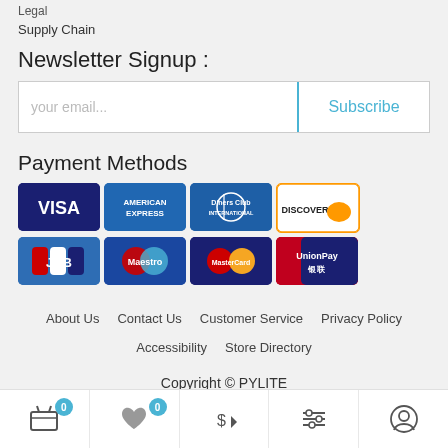Legal
Supply Chain
Newsletter Signup :
your email...  Subscribe
Payment Methods
[Figure (logo): Payment method logos: VISA, American Express, Diners Club International, Discover, JCB, Maestro, MasterCard, UnionPay]
About Us   Contact Us   Customer Service   Privacy Policy   Accessibility   Store Directory
Copyright © PYLITE
[Figure (infographic): Bottom navigation bar with cart (0), wishlist heart (0), currency $, filters, and user account icons]